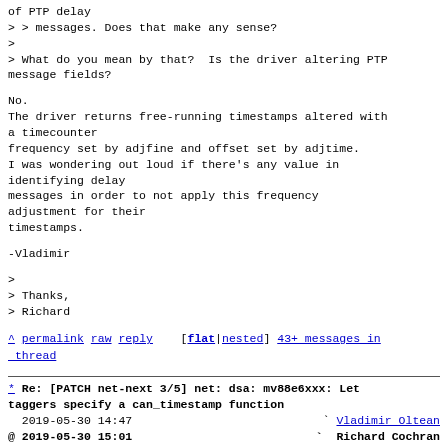of PTP delay
> > messages. Does that make any sense?
>
> What do you mean by that?  Is the driver altering PTP
message fields?
No.
The driver returns free-running timestamps altered with
a timecounter
frequency set by adjfine and offset set by adjtime.
I was wondering out loud if there's any value in
identifying delay
messages in order to not apply this frequency
adjustment for their
timestamps.
-Vladimir
>
> Thanks,
> Richard
^ permalink raw reply   [flat|nested] 43+ messages in thread
* Re: [PATCH net-next 3/5] net: dsa: mv88e6xxx: Let taggers specify a can_timestamp function
  2019-05-30 14:47     ` Vladimir Oltean
@ 2019-05-30 15:01       ` Richard Cochran
  0 siblings, 0 replies; 43+ messages in thread